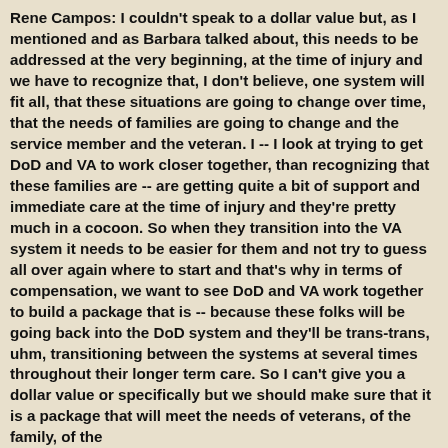Rene Campos: I couldn't speak to a dollar value but, as I mentioned and as Barbara talked about, this needs to be addressed at the very beginning, at the time of injury and we have to recognize that, I don't believe, one system will fit all, that these situations are going to change over time, that the needs of families are going to change and the service member and the veteran. I -- I look at trying to get DoD and VA to work closer together, than recognizing that these families are -- are getting quite a bit of support and immediate care at the time of injury and they're pretty much in a cocoon. So when they transition into the VA system it needs to be easier for them and not try to guess all over again where to start and that's why in terms of compensation, we want to see DoD and VA work together to build a package that is -- because these folks will be going back into the DoD system and they'll be trans-trans, uhm, transitioning between the systems at several times throughout their longer term care. So I can't give you a dollar value or specifically but we should make sure that it is a package that will meet the needs of veterans, of the family, of the